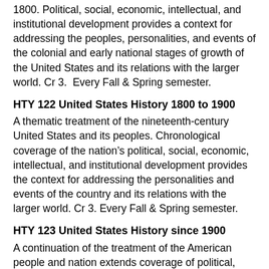1800. Political, social, economic, intellectual, and institutional development provides a context for addressing the peoples, personalities, and events of the colonial and early national stages of growth of the United States and its relations with the larger world. Cr 3.  Every Fall & Spring semester.
HTY 122 United States History 1800 to 1900
A thematic treatment of the nineteenth-century United States and its peoples. Chronological coverage of the nation’s political, social, economic, intellectual, and institutional development provides the context for addressing the personalities and events of the country and its relations with the larger world. Cr 3. Every Fall & Spring semester.
HTY 123 United States History since 1900
A continuation of the treatment of the American people and nation extends coverage of political,